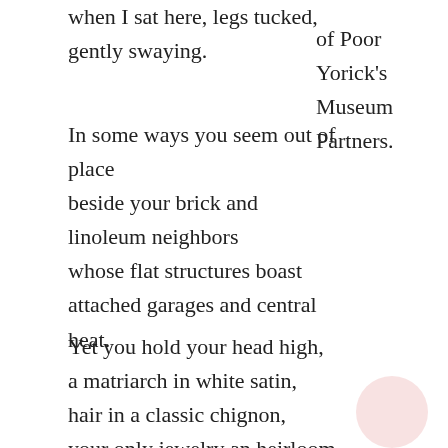when I sat here, legs tucked,
gently swaying.
of Poor
Yorick's
Museum
Partners.
In some ways you seem out of place
beside your brick and
linoleum neighbors
whose flat structures boast
attached garages and central
heat.
Yet you hold your head high,
a matriarch in white satin,
hair in a classic chignon,
your only jewelry an heirloom